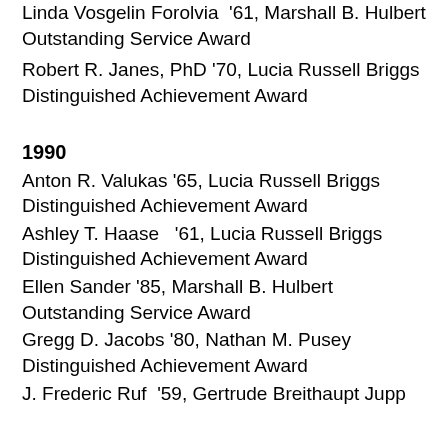Linda Vosgelin Forolvia '61, Marshall B. Hulbert Outstanding Service Award
Robert R. Janes, PhD '70, Lucia Russell Briggs Distinguished Achievement Award
1990
Anton R. Valukas '65, Lucia Russell Briggs Distinguished Achievement Award
Ashley T. Haase '61, Lucia Russell Briggs Distinguished Achievement Award
Ellen Sander '85, Marshall B. Hulbert Outstanding Service Award
Gregg D. Jacobs '80, Nathan M. Pusey Distinguished Achievement Award
J. Frederic Ruf '59, Gertrude Breithaupt Jupp